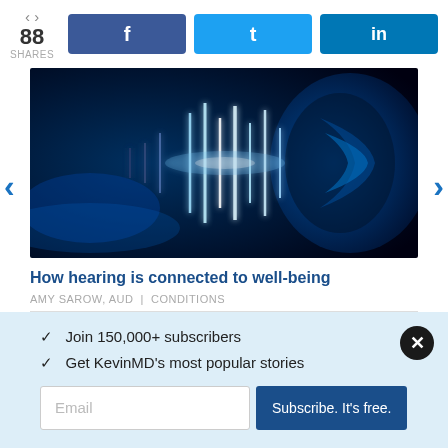88 SHARES
[Figure (screenshot): Social share buttons for Facebook, Twitter, and LinkedIn]
[Figure (photo): Dark blue background with glowing blue sound waves and a human ear on the right side]
How hearing is connected to well-being
AMY SAROW, AUD | CONDITIONS
✓ Join 150,000+ subscribers
✓ Get KevinMD's most popular stories
Email
Subscribe. It's free.